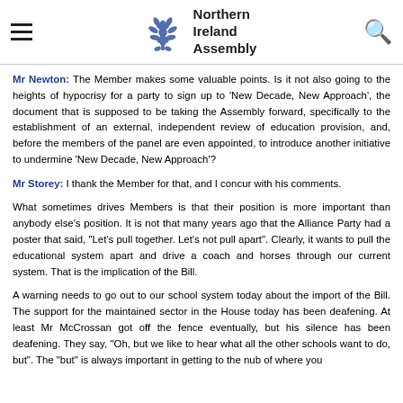Northern Ireland Assembly
Mr Newton: The Member makes some valuable points. Is it not also going to the heights of hypocrisy for a party to sign up to 'New Decade, New Approach', the document that is supposed to be taking the Assembly forward, specifically to the establishment of an external, independent review of education provision, and, before the members of the panel are even appointed, to introduce another initiative to undermine 'New Decade, New Approach'?
Mr Storey: I thank the Member for that, and I concur with his comments.
What sometimes drives Members is that their position is more important than anybody else's position. It is not that many years ago that the Alliance Party had a poster that said, "Let's pull together. Let's not pull apart". Clearly, it wants to pull the educational system apart and drive a coach and horses through our current system. That is the implication of the Bill.
A warning needs to go out to our school system today about the import of the Bill. The support for the maintained sector in the House today has been deafening. At least Mr McCrossan got off the fence eventually, but his silence has been deafening. They say, "Oh, but we like to hear what all the other schools want to do, but". The "but" is always important in getting to the nub of where you